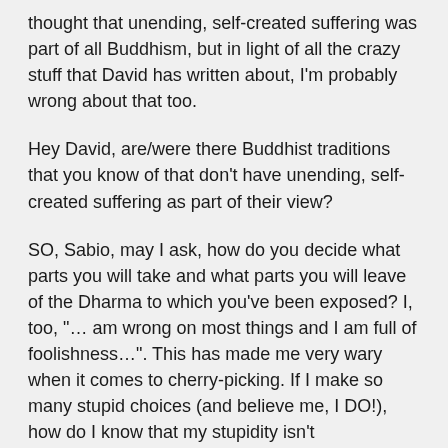thought that unending, self-created suffering was part of all Buddhism, but in light of all the crazy stuff that David has written about, I'm probably wrong about that too.
Hey David, are/were there Buddhist traditions that you know of that don't have unending, self-created suffering as part of their view?
SO, Sabio, may I ask, how do you decide what parts you will take and what parts you will leave of the Dharma to which you've been exposed? I, too, “… am wrong on most things and I am full of foolishness…”. This has made me very wary when it comes to cherry-picking. If I make so many stupid choices (and believe me, I DO!), how do I know that my stupidity isn’t misinforming my decision-making process?